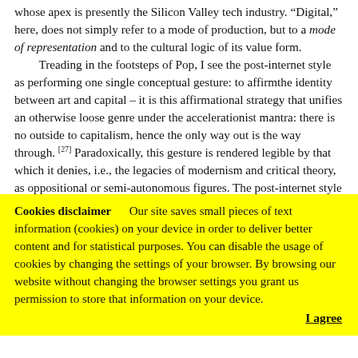whose apex is presently the Silicon Valley tech industry. “Digital,” here, does not simply refer to a mode of production, but to a mode of representation and to the cultural logic of its value form.

Treading in the footsteps of Pop, I see the post-internet style as performing one single conceptual gesture: to affirmthe identity between art and capital – it is this affirmational strategy that unifies an otherwise loose genre under the accelerationist mantra: there is no outside to capitalism, hence the only way out is the way through. [27] Paradoxically, this gesture is rendered legible by that which it denies, i.e., the legacies of modernism and critical theory, as oppositional or semi-autonomous figures. The post-internet style is, one could say, the negation of the negation. But
Cookies disclaimer   Our site saves small pieces of text information (cookies) on your device in order to deliver better content and for statistical purposes. You can disable the usage of cookies by changing the settings of your browser. By browsing our website without changing the browser settings you grant us permission to store that information on your device.
I agree